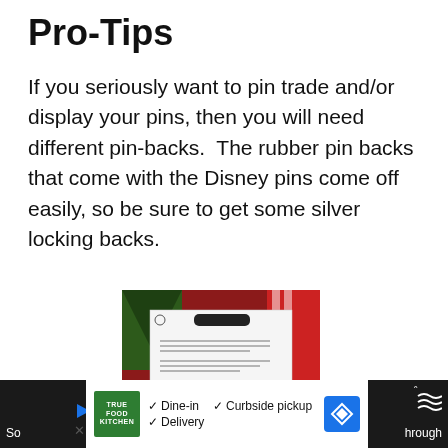Pro-Tips
If you seriously want to pin trade and/or display your pins, then you will need different pin-backs.  The rubber pin backs that come with the Disney pins come off easily, so be sure to get some silver locking backs.
[Figure (photo): Photo showing the back of a package of Disney Mickey Mouse shaped locking pin backs, with several black Mickey Mouse ear silhouette pin backs visible, placed on a plate with holiday decorations in the background.]
True Food Kitchen  ✓ Dine-in  ✓ Curbside pickup  ✓ Delivery   So... hrough